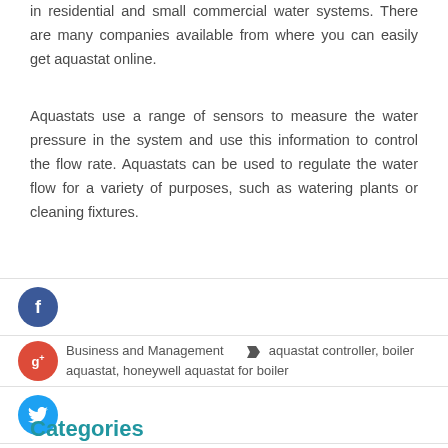in residential and small commercial water systems. There are many companies available from where you can easily get aquastat online.
Aquastats use a range of sensors to measure the water pressure in the system and use this information to control the flow rate. Aquastats can be used to regulate the water flow for a variety of purposes, such as watering plants or cleaning fixtures.
[Figure (other): Facebook social share button icon (blue circle with f)]
Business and Management   aquastat controller, boiler aquastat, honeywell aquastat for boiler
[Figure (other): Google Plus social share button icon (red circle with g+)]
[Figure (other): Twitter social share button icon (blue circle with bird)]
[Figure (other): Add/Plus button icon (dark circle with +)]
earch ...
Categories